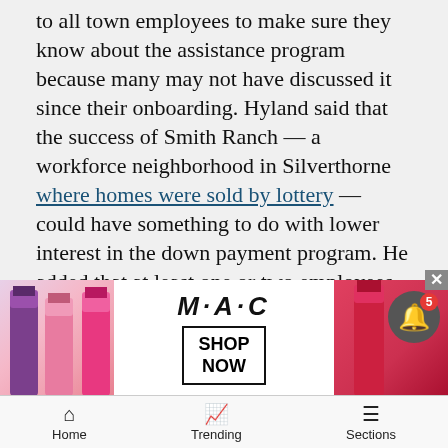to all town employees to make sure they know about the assistance program because many may not have discussed it since their onboarding. Hyland said that the success of Smith Ranch — a workforce neighborhood in Silverthorne where homes were sold by lottery — could have something to do with lower interest in the down payment program. He added that at least one or two employees in each of the town's departments have lived at Smith Ranch.
Multiple communities in Summit County — including Silverthorne — participate in the Summit Combined Housing Authority's Housing Helps program. Under Housing Helps, the county will pay owners, buyers and sellers to accept a deed restriction on homes that are curren[tly] funds [available]
[Figure (screenshot): MAC Cosmetics advertisement banner showing colorful lipsticks on left side, MAC logo with SHOP NOW button in center, and red lipstick on right side. Overlaid on article content.]
Home | Trending | Sections